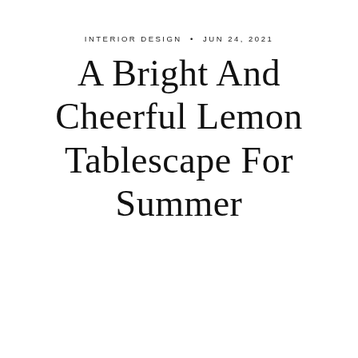INTERIOR DESIGN • JUN 24, 2021
A Bright And Cheerful Lemon Tablescape For Summer